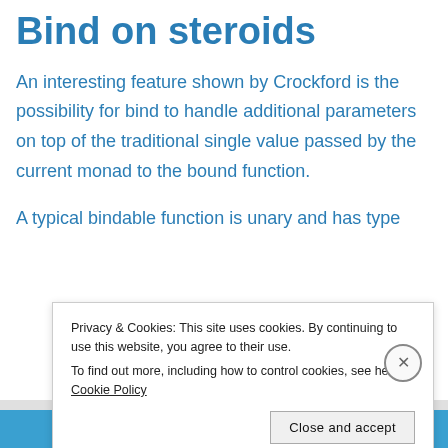Bind on steroids
An interesting feature shown by Crockford is the possibility for bind to handle additional parameters on top of the traditional single value passed by the current monad to the bound function.
A typical bindable function is unary and has type
Privacy & Cookies: This site uses cookies. By continuing to use this website, you agree to their use.
To find out more, including how to control cookies, see here: Cookie Policy
Close and accept